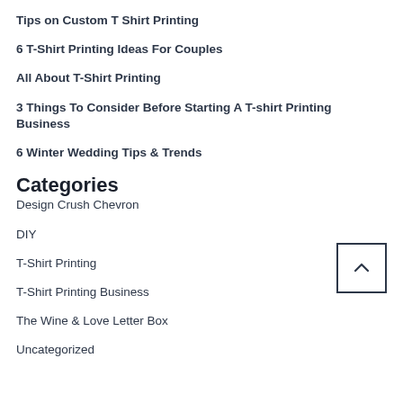Tips on Custom T Shirt Printing
6 T-Shirt Printing Ideas For Couples
All About T-Shirt Printing
3 Things To Consider Before Starting A T-shirt Printing Business
6 Winter Wedding Tips & Trends
Categories
Design Crush Chevron
DIY
T-Shirt Printing
T-Shirt Printing Business
The Wine & Love Letter Box
Uncategorized